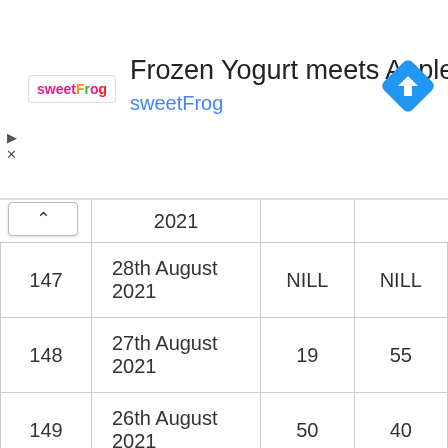[Figure (screenshot): sweetFrog advertisement banner with logo, title 'Frozen Yogurt meets Apple Pie', subtitle 'sweetFrog', and navigation icon]
|  | 2021 |  |  |
| --- | --- | --- | --- |
| 147 | 28th August 2021 | NILL | NILL |
| 148 | 27th August 2021 | 19 | 55 |
| 149 | 26th August 2021 | 50 | 40 |
| 150 | 25th August 2021 | NILL | NILL |
| 151 | 24th August 2021 | 69 | 17 |